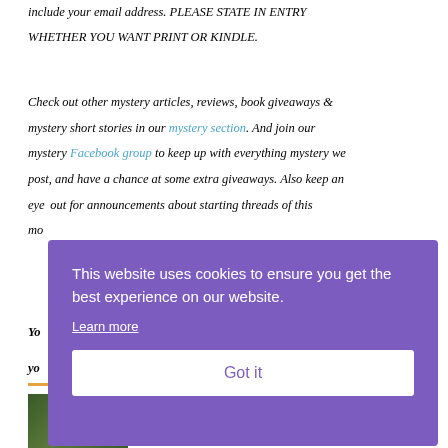include your email address. PLEASE STATE IN ENTRY WHETHER YOU WANT PRINT OR KINDLE.
Check out other mystery articles, reviews, book giveaways & mystery short stories in our mystery section. And join our mystery Facebook group to keep up with everything mystery we post, and have a chance at some extra giveaways. Also keep an eye out for announcements about starting threads of this mo[nth's]
You[r ...] you[r ...]
[Figure (photo): Partial book cover image at bottom left, partially obscured by cookie overlay]
This website uses cookies to ensure you get the best experience on our website. Learn more Got it